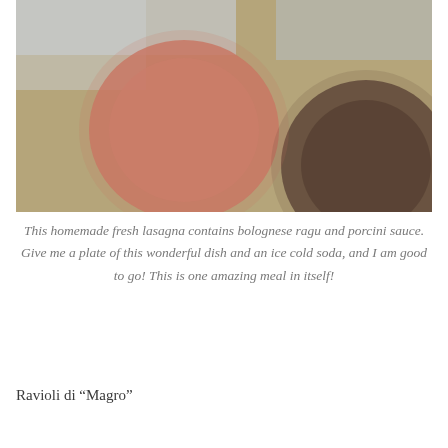[Figure (photo): A blurred close-up photo of what appears to be food items or plates on a warm tan/beige background, showing a salmon-pink circular blur on the left and a dark brown circular blur on the right.]
This homemade fresh lasagna contains bolognese ragu and porcini sauce. Give me a plate of this wonderful dish and an ice cold soda, and I am good to go! This is one amazing meal in itself!
Ravioli di “Magro”